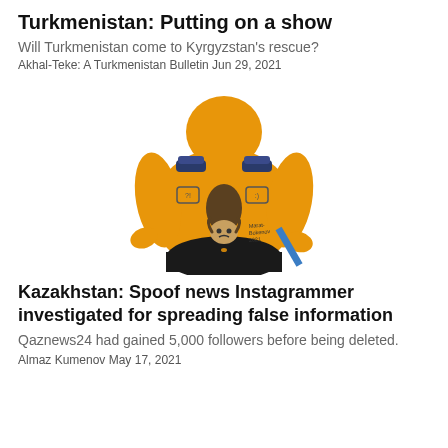Turkmenistan: Putting on a show
Will Turkmenistan come to Kyrgyzstan's rescue?
Akhal-Teke: A Turkmenistan Bulletin Jun 29, 2021
[Figure (illustration): Cartoon illustration of a large orange/yellow figure with military epaulettes, showing a person upside-down attached to the chest. Artist signature reads 'Marat Bokenov 2021'. A blue diagonal stripe is partially visible.]
Kazakhstan: Spoof news Instagrammer investigated for spreading false information
Qaznews24 had gained 5,000 followers before being deleted.
Almaz Kumenov May 17, 2021